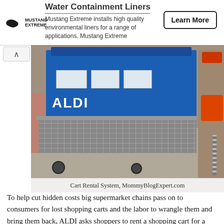Water Containment Liners
Mustang Extreme installs high quality environmental liners for a range of applications. Mustang Extreme
[Figure (photo): ALDI shopping cart with blue body, coin-operated rental lock mechanism in red/orange on the right side, wire mesh basket, shown from front-right angle on concrete ground]
Cart Rental System, MommyBlogExpert.com
To help cut hidden costs big supermarket chains pass on to consumers for lost shopping carts and the labor to wrangle them and bring them back, ALDI asks shoppers to rent a shopping cart for a quarter which you get back when you return your cart after you're done. How genius is that?
Inside the typical store, which is slightly smaller in total square footage than I've experienced elsewhere in a traditional